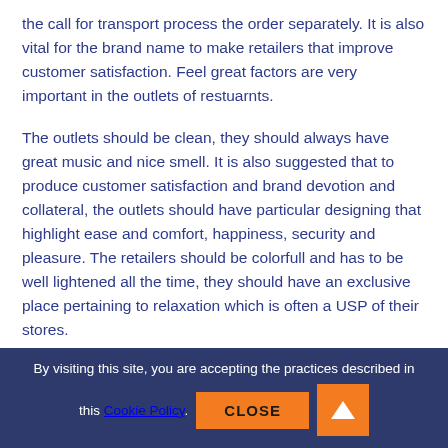the call for transport process the order separately. It is also vital for the brand name to make retailers that improve customer satisfaction. Feel great factors are very important in the outlets of restuarnts.
The outlets should be clean, they should always have great music and nice smell. It is also suggested that to produce customer satisfaction and brand devotion and collateral, the outlets should have particular designing that highlight ease and comfort, happiness, security and pleasure. The retailers should be colorfull and has to be well lightened all the time, they should have an exclusive place pertaining to relaxation which is often a USP of their stores.
They could easily get it created by an interior artist, instaliing paintings and TELEVISION SET screens to get a feel good element. It is also critical that they have several entertainment place for the infants, it absolutely was also noticed that might be
By visiting this site, you are accepting the practices described in this Cookie Policy. CLOSE